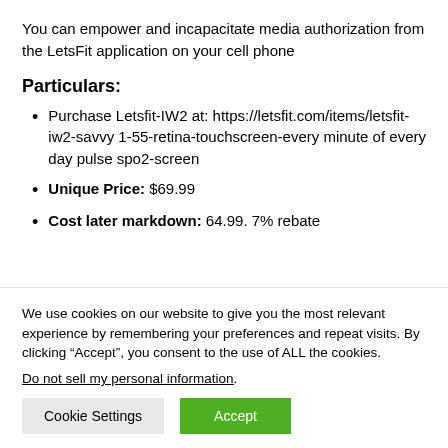You can empower and incapacitate media authorization from the LetsFit application on your cell phone
Particulars:
Purchase Letsfit-IW2 at: https://letsfit.com/items/letsfit-iw2-savvy 1-55-retina-touchscreen-every minute of every day pulse spo2-screen
Unique Price: $69.99
Cost later markdown: 64.99. 7% rebate
We use cookies on our website to give you the most relevant experience by remembering your preferences and repeat visits. By clicking “Accept”, you consent to the use of ALL the cookies.
Do not sell my personal information.